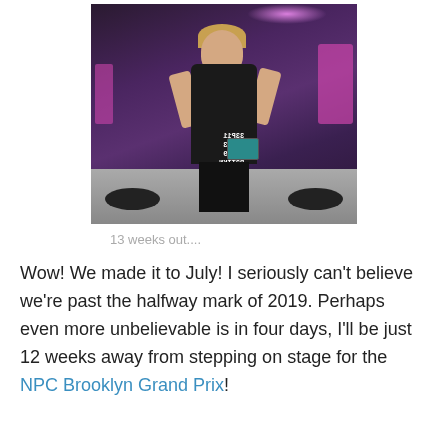[Figure (photo): Woman taking a gym mirror selfie in a dark workout outfit with a phone, surrounded by purple/pink gym equipment and weights on the floor]
13 weeks out....
Wow! We made it to July! I seriously can't believe we're past the halfway mark of 2019. Perhaps even more unbelievable is in four days, I'll be just 12 weeks away from stepping on stage for the NPC Brooklyn Grand Prix!